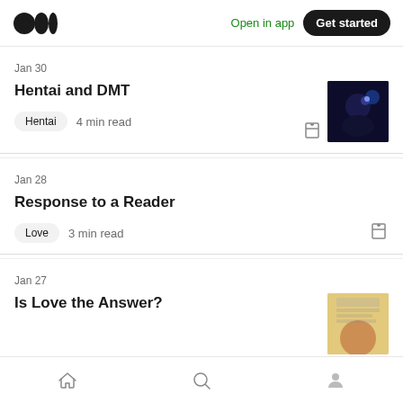Medium logo | Open in app | Get started
Jan 30
Hentai and DMT
Hentai  4 min read
Jan 28
Response to a Reader
Love  3 min read
Jan 27
Is Love the Answer?
Home | Search | Profile